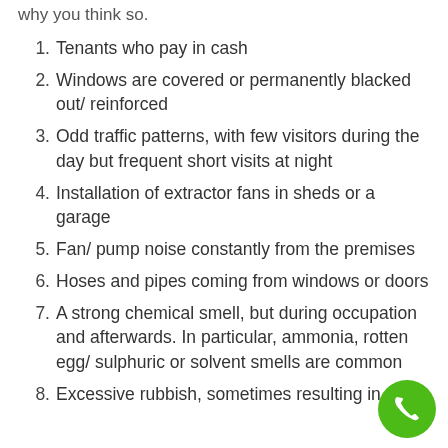why you think so.
Tenants who pay in cash
Windows are covered or permanently blacked out/ reinforced
Odd traffic patterns, with few visitors during the day but frequent short visits at night
Installation of extractor fans in sheds or a garage
Fan/ pump noise constantly from the premises
Hoses and pipes coming from windows or doors
A strong chemical smell, but during occupation and afterwards. In particular, ammonia, rotten egg/ sulphuric or solvent smells are common
Excessive rubbish, sometimes resulting in the